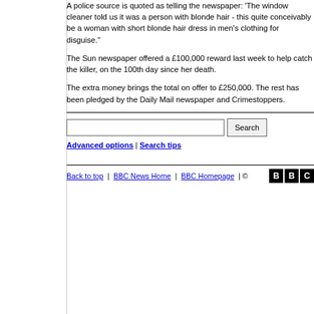A police source is quoted as telling the newspaper: 'The window cleaner told us it was a person with blonde hair - this quite conceivably be a woman with short blonde hair dress in men's clothing for disguise."
The Sun newspaper offered a £100,000 reward last week to help catch the killer, on the 100th day since her death.
The extra money brings the total on offer to £250,000. The rest has been pledged by the Daily Mail newspaper and Crimestoppers.
Advanced options | Search tips
Back to top | BBC News Home | BBC Homepage | ©